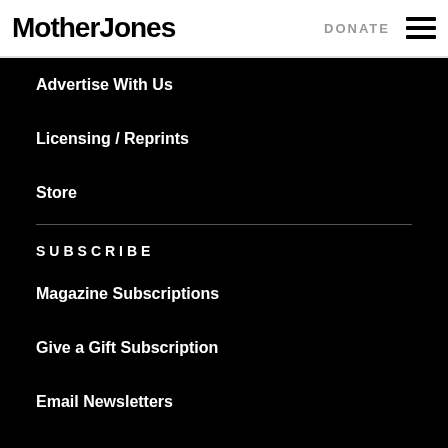Mother Jones | DONATE
Advertise With Us
Licensing / Reprints
Store
SUBSCRIBE
Magazine Subscriptions
Give a Gift Subscription
Email Newsletters
Podcasts